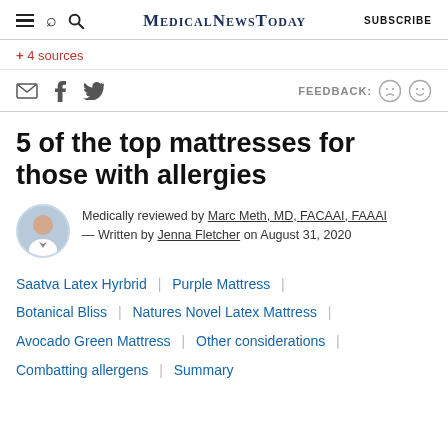MedicalNewsToday  SUBSCRIBE
+ 4 sources
FEEDBACK: 😞 😊
5 of the top mattresses for those with allergies
Medically reviewed by Marc Meth, MD, FACAAI, FAAAI — Written by Jenna Fletcher on August 31, 2020
Saatva Latex Hyrbrid
Purple Mattress
Botanical Bliss
Natures Novel Latex Mattress
Avocado Green Mattress
Other considerations
Combatting allergens
Summary